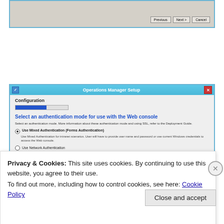[Figure (screenshot): Partial screenshot of a Windows setup dialog showing Previous, Next, and Cancel buttons at the bottom right of a grey dialog with blue border.]
[Figure (screenshot): Screenshot of Operations Manager Setup Configuration dialog. Shows 'Select an authentication mode for use with the Web console' heading in blue, with description text and radio button options including 'Use Mixed Authentication (Forms Authentication)' selected and 'Use Network Authentication' partially visible.]
Privacy & Cookies: This site uses cookies. By continuing to use this website, you agree to their use.
To find out more, including how to control cookies, see here: Cookie Policy
Close and accept